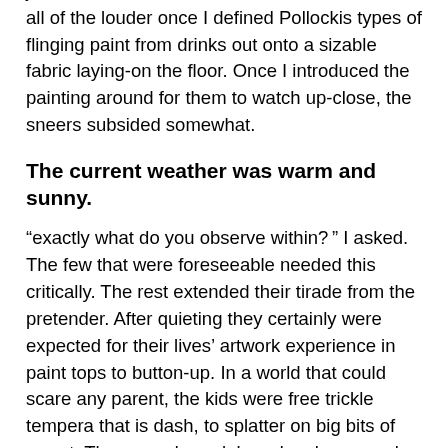joke, and not art whatsoever. Several sneered all of the louder once I defined Pollockis types of flinging paint from drinks out onto a sizable fabric laying-on the floor. Once I introduced the painting around for them to watch up-close, the sneers subsided somewhat.
The current weather was warm and sunny.
“exactly what do you observe within?” I asked. The few that were foreseeable needed this critically. The rest extended their tirade from the pretender. After quieting they certainly were expected for their lives’ artwork experience in paint tops to button-up. In a world that could scare any parent, the kids were free trickle tempera that is dash, to splatter on big bits of report. The ground was labored on by several. While they were covered in color tops (some in as much as three to safeguard fresh outfits), several went property more decorative than they’d left day. The temper of laughter became clever and subdued whilst the function progressed.